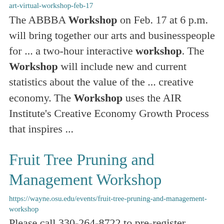art-virtual-workshop-feb-17
The ABBBA Workshop on Feb. 17 at 6 p.m. will bring together our arts and businesspeople for ... a two-hour interactive workshop. The Workshop will include new and current statistics about the value of the ... creative economy. The Workshop uses the AIR Institute's Creative Economy Growth Process that inspires ...
Fruit Tree Pruning and Management Workshop
https://wayne.osu.edu/events/fruit-tree-pruning-and-management-workshop
Please call 330-264-8722 to pre-register